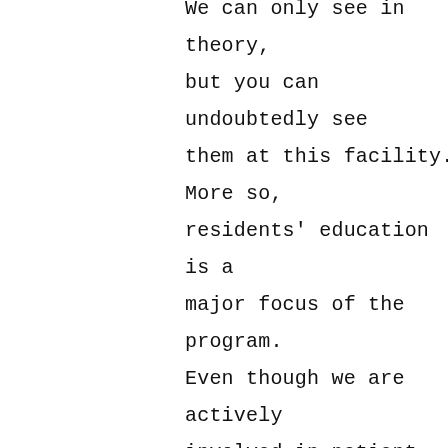We can only see in theory, but you can undoubtedly see them at this facility. More so, residents' education is a major focus of the program. Even though we are actively involved in patient care, we have set out time for case discussions, teaching rounds with attendings, and board review sessions. If I had the opportunity to choose where I would do my residency again, this will remain my top choice.